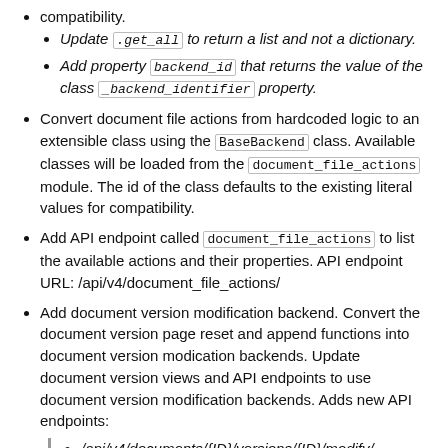Update .get_all to return a list and not a dictionary.
Add property backend_id that returns the value of the class _backend_identifier property.
Convert document file actions from hardcoded logic to an extensible class using the BaseBackend class. Available classes will be loaded from the document_file_actions module. The id of the class defaults to the existing literal values for compatibility.
Add API endpoint called document_file_actions to list the available actions and their properties. API endpoint URL: /api/v4/document_file_actions/
Add document version modification backend. Convert the document version page reset and append functions into document version modication backends. Update document version views and API endpoints to use document version modification backends. Adds new API endpoints:
/api/v4/documents/{ID}/versions/{ID}/modify/
/api/v4/document_version_modification_backends/